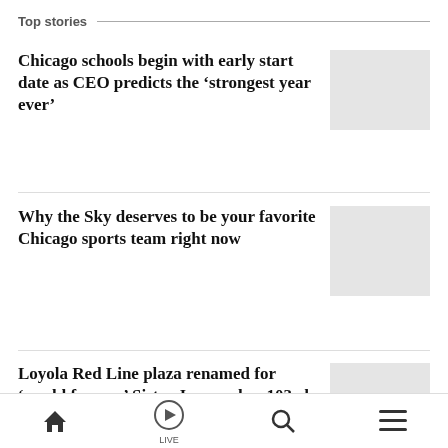Top stories
Chicago schools begin with early start date as CEO predicts the ‘strongest year ever’
Why the Sky deserves to be your favorite Chicago sports team right now
Loyola Red Line plaza renamed for ‘world famous’ Sister Jean on her 103rd birthday